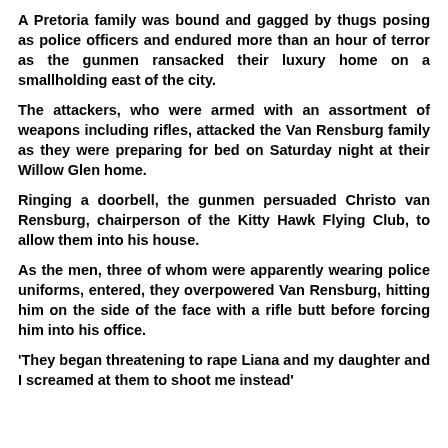A Pretoria family was bound and gagged by thugs posing as police officers and endured more than an hour of terror as the gunmen ransacked their luxury home on a smallholding east of the city.
The attackers, who were armed with an assortment of weapons including rifles, attacked the Van Rensburg family as they were preparing for bed on Saturday night at their Willow Glen home.
Ringing a doorbell, the gunmen persuaded Christo van Rensburg, chairperson of the Kitty Hawk Flying Club, to allow them into his house.
As the men, three of whom were apparently wearing police uniforms, entered, they overpowered Van Rensburg, hitting him on the side of the face with a rifle butt before forcing him into his office.
'They began threatening to rape Liana and my daughter and I screamed at them to shoot me instead'